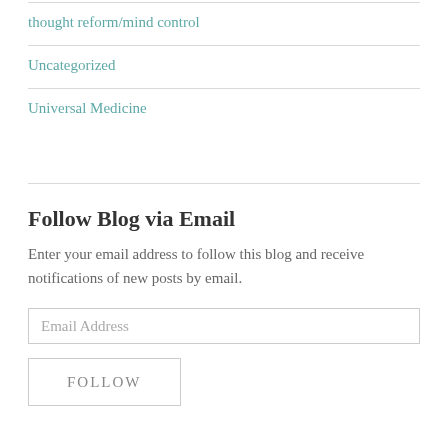thought reform/mind control
Uncategorized
Universal Medicine
Follow Blog via Email
Enter your email address to follow this blog and receive notifications of new posts by email.
Email Address
FOLLOW